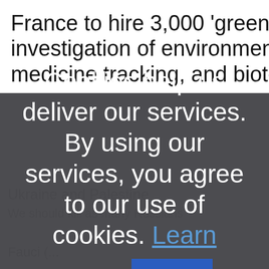France to hire 3,000 'green police' t... investigation of environmental issue... medicine tracking, and bioterrorism...
Cookies help us deliver our services. By using our services, you agree to our use of cookies. Learn more  OK